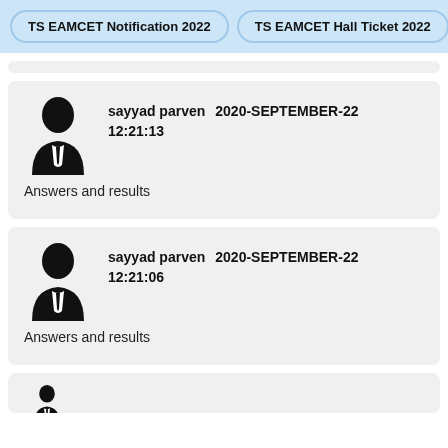TS EAMCET Notification 2022  TS EAMCET Hall Ticket 2022
sayyad parven  2020-SEPTEMBER-22  12:21:13
Answers and results
sayyad parven  2020-SEPTEMBER-22  12:21:06
Answers and results
[Figure (illustration): Partial user avatar silhouette at bottom, cropped]